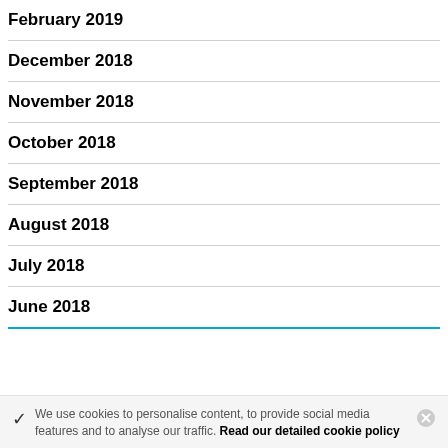February 2019
December 2018
November 2018
October 2018
September 2018
August 2018
July 2018
June 2018
We use cookies to personalise content, to provide social media features and to analyse our traffic. Read our detailed cookie policy